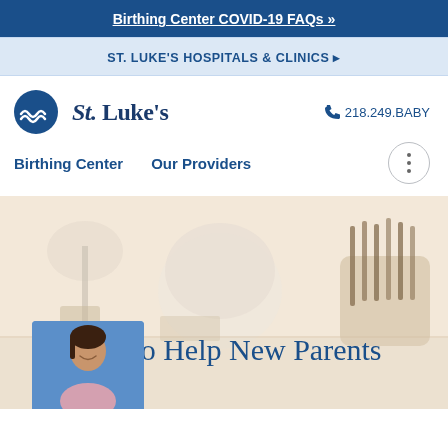Birthing Center COVID-19 FAQs »
ST. LUKE'S HOSPITALS & CLINICS ▸
[Figure (logo): St. Luke's hospital logo with wave icon and text]
218.249.BABY
Birthing Center   Our Providers
[Figure (photo): Hero banner image showing kitchen items (lamp, bowls, utensils in basket) with text overlay 'How to Help New Parents']
How to Help New Parents
[Figure (photo): Author headshot photo - woman with dark hair smiling, blue background]